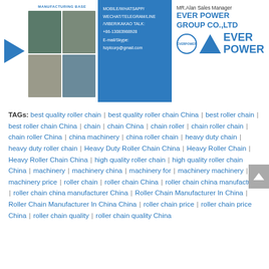[Figure (infographic): Company header banner with manufacturing photos, contact info (MOBILE/WHATSAPP/WECHAT/TELEGRAM/LINE/VIBER/KAKAO TALK, +86-13083988928, E-mail/Skype: hzptcorp@gmail.com), and Ever Power Group Co., Ltd branding with logo and play arrow]
TAGs: best quality roller chain | best quality roller chain China | best roller chain | best roller chain China | chain | chain China | chain roller | chain roller chain | chain roller China | china machinery | china roller chain | heavy duty chain | heavy duty roller chain | Heavy Duty Roller Chain China | Heavy Roller Chain | Heavy Roller Chain China | high quality roller chain | high quality roller chain China | machinery | machinery china | machinery for | machinery machinery | machinery price | roller chain | roller chain China | roller chain china manufacturer | roller chain china manufacturer China | Roller Chain Manufacturer In China | Roller Chain Manufacturer In China China | roller chain price | roller chain price China | roller chain quality | roller chain quality China